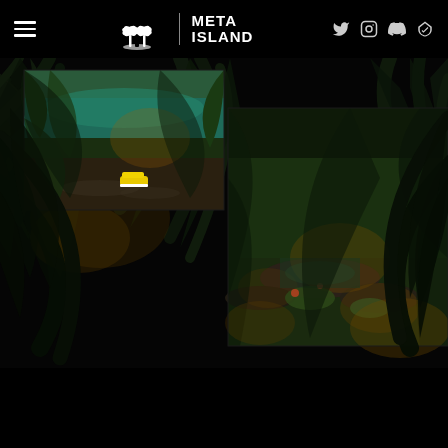[Figure (screenshot): Meta Island NFT website header with hamburger menu on left, Meta Island logo (palm trees icon + META ISLAND text) in center, and social media icons (Twitter, Instagram, Discord, OpenSea) on right, on black background]
[Figure (photo): Two overlapping jungle/tropical 3D rendered scene panels. Left panel shows a tropical beach scene with green foliage, sandy shore, turquoise water, and yellow sneakers. Right panel shows a lush jungle path with rocks, tropical plants, and golden light filtering through dark palm fronds. Both panels are set against a very dark tropical background with dramatic dark palm leaf silhouettes.]